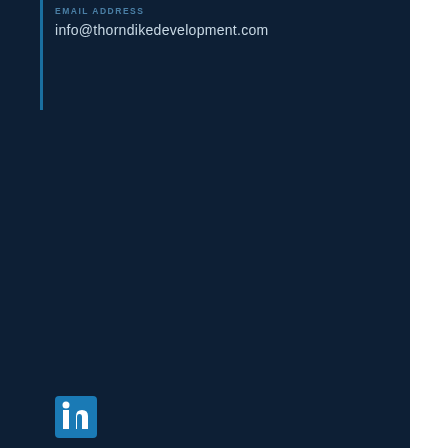EMAIL ADDRESS
info@thorndikedevelopment.com
[Figure (logo): LinkedIn icon — blue square with white 'in' logo]